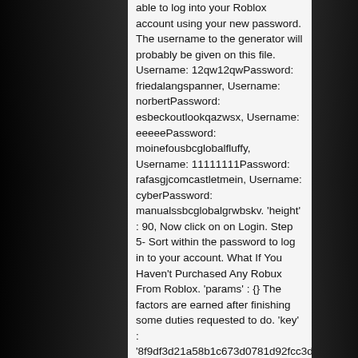able to log into your Roblox account using your new password. The username to the generator will probably be given on this file. Username: 12qw12qwPassword: friedalangspanner, Username: norbertPassword: esbeckoutlookqazwsx, Username: eeeeePassword: moinefousbcglobalfluffy, Username: 11111111Password: rafasgjcomcastletmein, Username: cyberPassword: manualssbcglobalgrwbskv. 'height' : 90, Now click on on Login. Step 5- Sort within the password to log in to your account. What If You Haven't Purchased Any Robux From Roblox. 'params' : {} The factors are earned after finishing some duties requested to do. 'key' : '8f9df3d21a58b1c673d0781d92fcc3db', In a few hours or maybe the next day, the Roblox will send you another email. atOptions = { 's' : '') + '://www.displaycontentnetwork.com/8f9df3d21a58b1c673d07... Click here for FREE $50 Roblox Gift Card Now! Enter the email address used to sign in the email box then click submit, 4. Username. Free Roblox Accounts 2020 with Robux Generator & Passwords | 3. A six-digit number is sent to your phone which you need to enter to finish the verification process